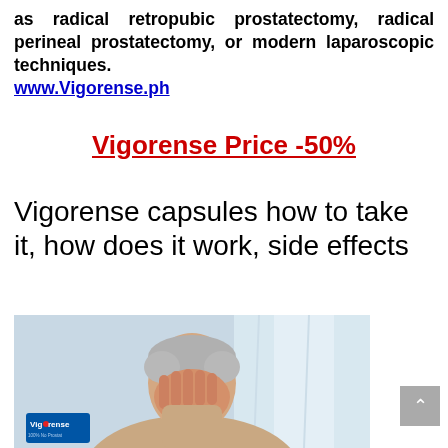as radical retropubic prostatectomy, radical perineal prostatectomy, or modern laparoscopic techniques. www.Vigorense.ph
Vigorense Price -50%
Vigorense capsules how to take it, how does it work, side effects
[Figure (photo): Elderly man holding his head in his hands, with a Vigorense product box visible at the bottom left of the image.]